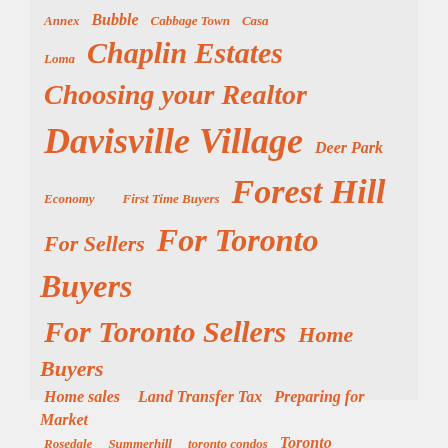[Figure (infographic): Tag cloud / word cloud with real estate related terms in orange italic bold text on a light gray background. Terms vary in font size indicating frequency/importance. Terms include: Annex, Bubble, Cabbage Town, Casa Loma, Chaplin Estates, Choosing your Realtor, Davisville Village, Deer Park, Economy, First Time Buyers, Forest Hill, For Sellers, For Toronto Buyers, For Toronto Sellers, Home Buyers, Home sales, Land Transfer Tax, Preparing for Market, Rosedale, Summerhill, toronto condos, Toronto Housing Stats, Toronto lisitings, Toronto listings, Toronto Real Estate, Toronto Realtor]